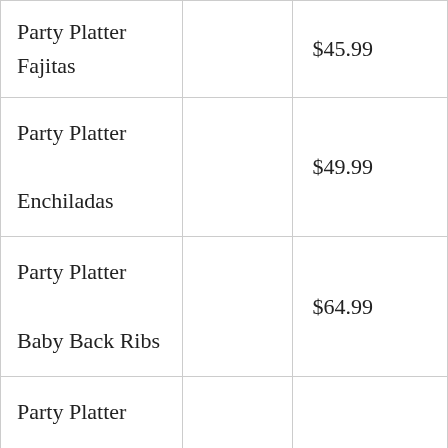| Item |  | Price |
| --- | --- | --- |
| Party Platter Fajitas |  | $45.99 |
| Party Platter Enchiladas |  | $49.99 |
| Party Platter Baby Back Ribs |  | $64.99 |
| Party Platter Quesadilla Explosion Salad |  | $35.99 |
| Party Platter House Salad |  | $15.99 |
|  |  |  |